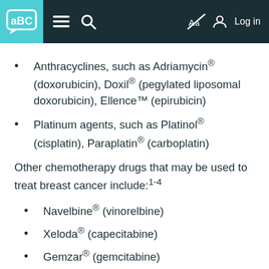aBC [navigation bar with logo, hamburger menu, search, accessibility, and login icons]
Anthracyclines, such as Adriamycin® (doxorubicin), Doxil® (pegylated liposomal doxorubicin), Ellence™ (epirubicin)
Platinum agents, such as Platinol® (cisplatin), Paraplatin® (carboplatin)
Other chemotherapy drugs that may be used to treat breast cancer include:1-4
Navelbine® (vinorelbine)
Xeloda® (capecitabine)
Gemzar® (gemcitabine)